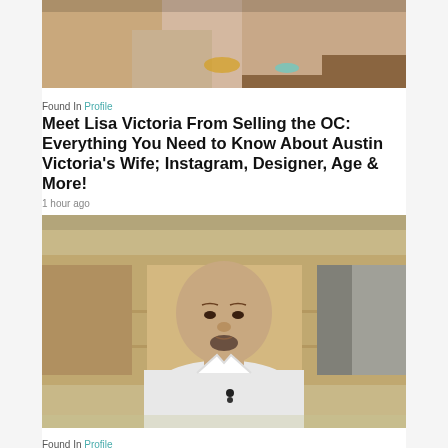[Figure (photo): Two women posing together, one embracing the other from behind, both smiling]
Found In Profile
Meet Lisa Victoria From Selling the OC: Everything You Need to Know About Austin Victoria's Wife; Instagram, Designer, Age & More!
1 hour ago
[Figure (photo): Bald man with a goatee wearing a white shirt, sitting in what appears to be a courtroom or office setting]
Found In Profile